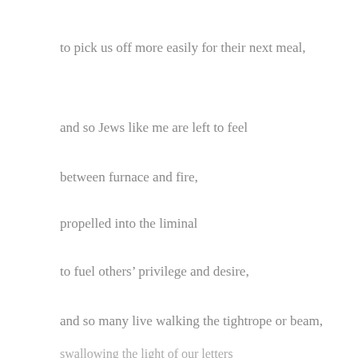to pick us off more easily for their next meal,
and so Jews like me are left to feel
between furnace and fire,
propelled into the liminal
to fuel others’ privilege and desire,
and so many live walking the tightrope or beam,
swallowing the light of our letters
until that light tastes of soot, or we turn moon